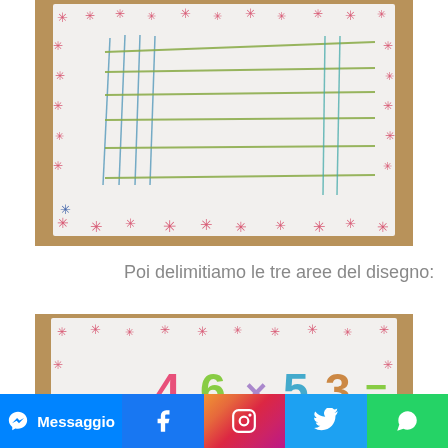[Figure (photo): A child's drawing on white paper with a decorative border of red star-like stamps. The paper shows hand-drawn colored lines (blue, green, olive) forming a grid-like pattern on the upper portion.]
Poi delimitiamo le tre aree del disegno:
[Figure (photo): A child's paper with red star-stamp border showing colorful numbers '4 6 x 53 =' written in pink/yellow/blue/green crayon, with lines starting below.]
Messaggio  f  [Instagram]  [Twitter]  [WhatsApp]